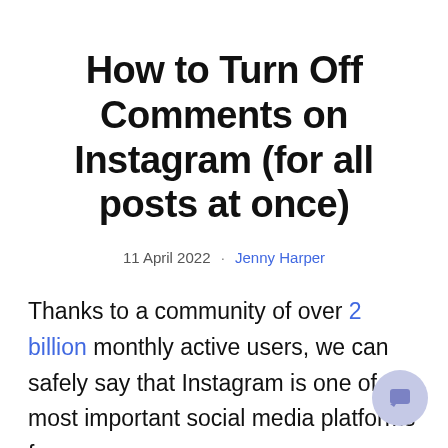How to Turn Off Comments on Instagram (for all posts at once)
11 April 2022 · Jenny Harper
Thanks to a community of over 2 billion monthly active users, we can safely say that Instagram is one of the most important social media platforms for